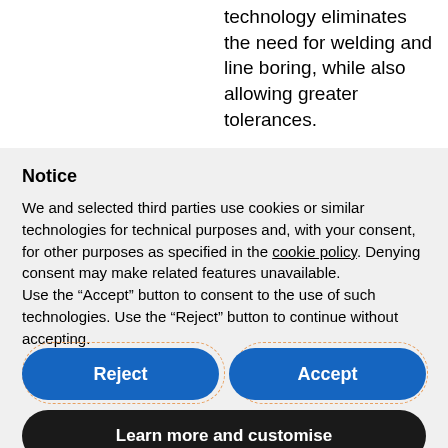technology eliminates the need for welding and line boring, while also allowing greater tolerances.
Notice
We and selected third parties use cookies or similar technologies for technical purposes and, with your consent, for other purposes as specified in the cookie policy. Denying consent may make related features unavailable.
Use the “Accept” button to consent to the use of such technologies. Use the “Reject” button to continue without accepting.